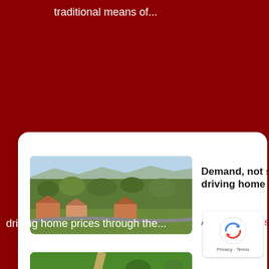traditional means of...
[Figure (photo): Aerial view of a suburban residential neighborhood with trees and houses]
Demand, not s... driving home p...
April 29th, 2021 | by Sa...
[Figure (photo): Aerial drone view of a residential property with pool and green lawn]
driving home prices through the...
[Figure (other): reCAPTCHA badge with Privacy and Terms]